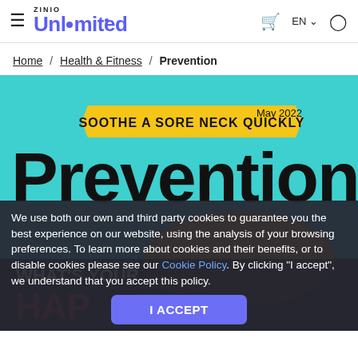ZINIO Unlimited — Home / Health & Fitness / Prevention — EN
Home / Health & Fitness / Prevention
[Figure (screenshot): Prevention magazine cover, May 2022. Teal/turquoise background with large black 'Prevention' masthead text, yellow banner reading 'SOOTHE A SORE NECK QUICKLY', date 'May 2022'. Lower portion shows a partial cover image with 'WHAT'S YOUR' text visible.]
We use both our own and third party cookies to guarantee you the best experience on our website, using the analysis of your browsing preferences. To learn more about cookies and their benefits, or to disable cookies please see our Cookie Policy. By clicking "I accept", we understand that you accept this policy.